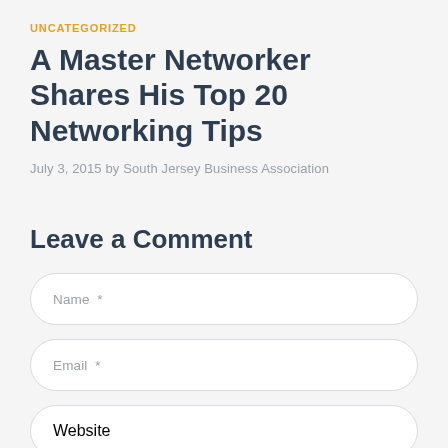UNCATEGORIZED
A Master Networker Shares His Top 20 Networking Tips
July 3, 2015 by South Jersey Business Association
Leave a Comment
Name *
Email *
Website